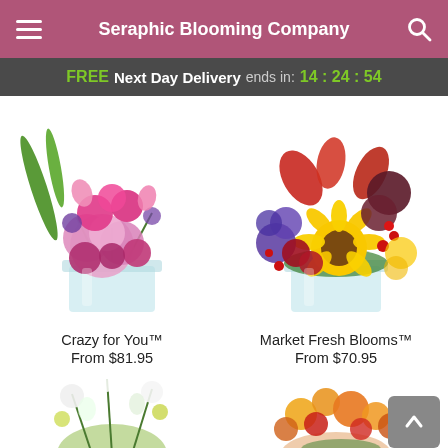Seraphic Blooming Company
FREE Next Day Delivery ends in: 14:24:54
[Figure (photo): Pink and magenta flower bouquet in a glass vase — Crazy for You]
Crazy for You™
From $81.95
[Figure (photo): Sunflower, red roses, purple and red fall flower bouquet in a glass cube vase — Market Fresh Blooms]
Market Fresh Blooms™
From $70.95
[Figure (photo): Partial view of green and white flower arrangement at bottom left]
[Figure (photo): Partial view of yellow, orange and red flower bouquet at bottom right]